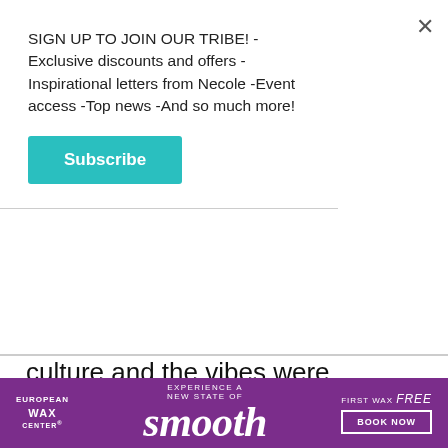SIGN UP TO JOIN OUR TRIBE! -Exclusive discounts and offers -Inspirational letters from Necole -Event access -Top news -And so much more!
[Figure (other): Teal Subscribe button]
culture and the vibes were perfect. I enjoyed it so much, I ventured to my second Tastemakers event later that week, the Cookout. After being there for an hour I lovingly renamed it Grits in Ghana (Don't try me. My trademark is pending) and deservedly so. The DJ executed dope NYE vibes, the drinks were strong and free, and the space was perfect. In the future, I'd confidently attend any other events they plan. But
[Figure (other): European Wax Center advertisement banner with purple background. Text reads: EUROPEAN WAX CENTER | EXPERIENCE A NEW STATE OF smooth | FIRST WAX free BOOK NOW]